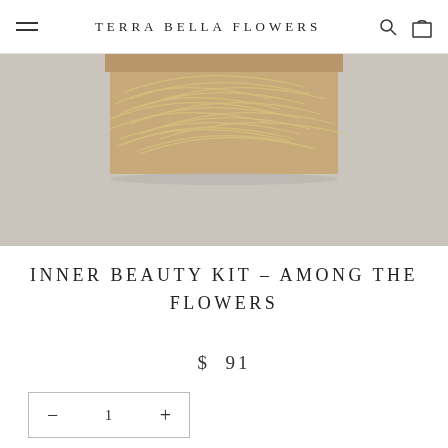TERRA BELLA FLOWERS
[Figure (photo): Top portion of a kraft cardboard gift box filled with dried straw/raffia packing material, photographed on a light grey background]
INNER BEAUTY KIT – AMONG THE FLOWERS
$ 91
− 1 +